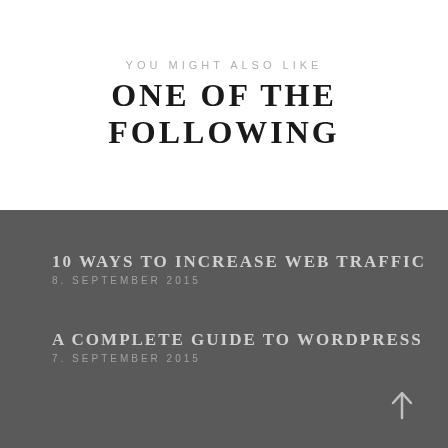YOU MIGHT ALSO LIKE
ONE OF THE FOLLOWING
10 WAYS TO INCREASE WEB TRAFFIC
8. SEPTEMBER 2015
A COMPLETE GUIDE TO WORDPRESS
7. SEPTEMBER 2015